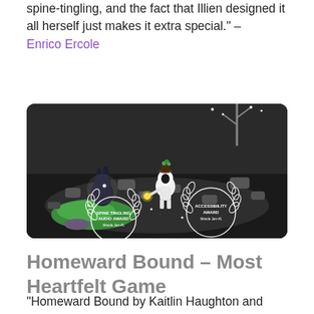spine-tingling, and the fact that Illien designed it all herself just makes it extra special." – Enrico Ercole
[Figure (screenshot): Screenshot of a dark video game scene showing a small white character with a glowing item and a dark rabbit/bunny character in a moody environment with grey rocks and a green pond. Two award laurel wreaths are overlaid: 'SPINE TINGLING AUDIO AWARD - Miracle Jam #1' and 'ACCESSIBILITY AWARD - Miracle Jam #1'.]
Homeward Bound – Most Heartfelt Game
"Homeward Bound by Kaitlin Haughton and Gina Loughlin has a special place in my heart